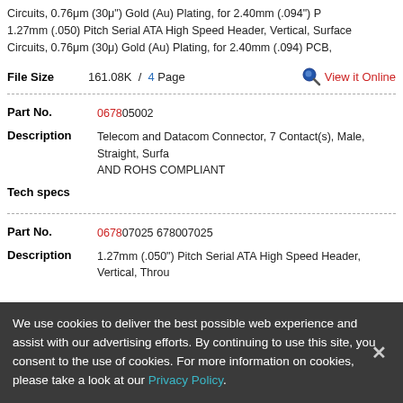Circuits, 0.76μm (30μ") Gold (Au) Plating, for 2.40mm (.094") PCB, 1.27mm (.050) Pitch Serial ATA High Speed Header, Vertical, Surface Circuits, 0.76μm (30μ) Gold (Au) Plating, for 2.40mm (.094) PCB,
File Size  161.08K / 4 Page   View it Online
Part No.  0678005002
Description  Telecom and Datacom Connector, 7 Contact(s), Male, Straight, Surface AND ROHS COMPLIANT
Tech specs
Part No.  0678007025 678007025
Description  1.27mm (.050") Pitch Serial ATA High Speed Header, Vertical, Through
We use cookies to deliver the best possible web experience and assist with our advertising efforts. By continuing to use this site, you consent to the use of cookies. For more information on cookies, please take a look at our Privacy Policy.